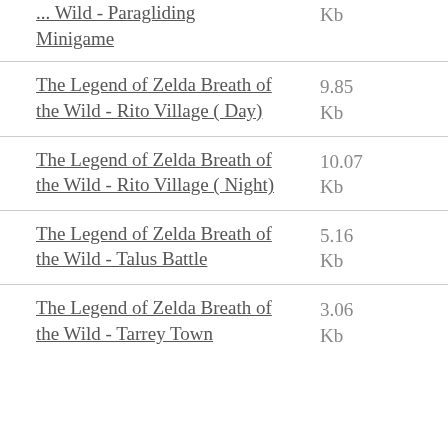... Wild - Paragliding Minigame — Kb
The Legend of Zelda Breath of the Wild - Rito Village ( Day) — 9.85 Kb
The Legend of Zelda Breath of the Wild - Rito Village ( Night) — 10.07 Kb
The Legend of Zelda Breath of the Wild - Talus Battle — 5.16 Kb
The Legend of Zelda Breath of the Wild - Tarrey Town — 3.06 Kb